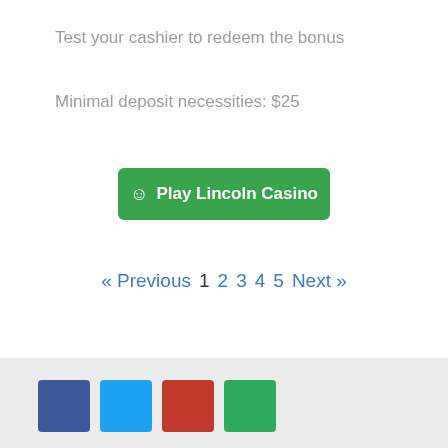Test your cashier to redeem the bonus
Minimal deposit necessities: $25
☺ Play Lincoln Casino
« Previous  1  2  3  4  5  Next »
[Figure (other): Four social media icon squares: dark blue (Facebook), light blue (Twitter), red (YouTube), green (Google+)]